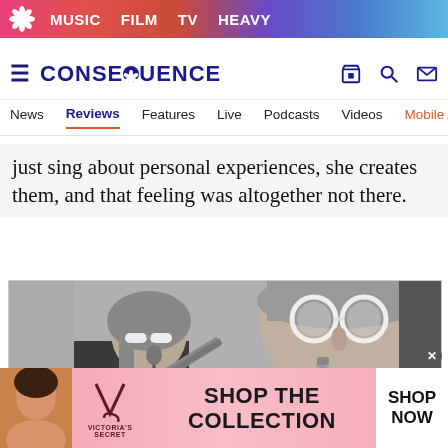MUSIC  FILM  TV  HEAVY
CONSEQUENCE
News  Reviews  Features  Live  Podcasts  Videos  Mobile A
just sing about personal experiences, she creates them, and that feeling was altogether not there.
[Figure (photo): Black and white photo of two musicians wearing sunglasses, one playing guitar and one playing saxophone]
[Figure (infographic): Victoria's Secret advertisement banner: SHOP THE COLLECTION with SHOP NOW button]